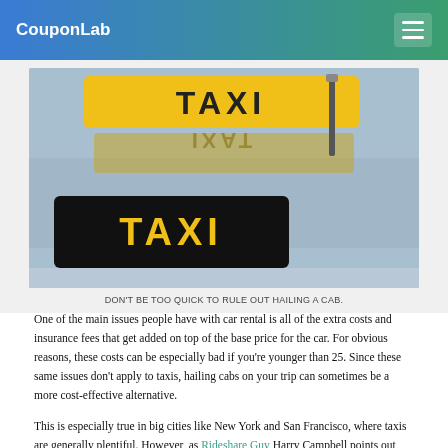CouponLab
[Figure (photo): Close-up photo of yellow taxi cab roof signs, two TAXI signs visible — one in background and one in foreground — against a blurred blue/grey background]
DON'T BE TOO QUICK TO RULE OUT HAILING A CAB.
One of the main issues people have with car rental is all of the extra costs and insurance fees that get added on top of the base price for the car. For obvious reasons, these costs can be especially bad if you're younger than 25. Since these same issues don't apply to taxis, hailing cabs on your trip can sometimes be a more cost-effective alternative.
This is especially true in big cities like New York and San Francisco, where taxis are generally plentiful. However, as Rideshare Guy Harry Campbell points out, there can be a lot of uncertainty surrounding taking taxis in foreign countries because of safety issues. So, even if there is a plethora of taxis at your vacation spot, the safer bet may just be to get your own rental car and save yourself the drama.
Another important thing to consider is how frequently you're going to